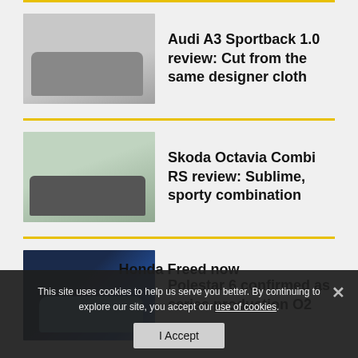[Figure (photo): Audi A3 Sportback car parked outdoors]
Audi A3 Sportback 1.0 review: Cut from the same designer cloth
[Figure (photo): Skoda Octavia Combi RS dark car on road]
Skoda Octavia Combi RS review: Sublime, sporty combination
[Figure (photo): Polestar 6 electric convertible car in blue studio]
Polestar 6 confirmed as series production O2
This site uses cookies to help us serve you better. By continuing to explore our site, you accept our use of cookies.
Honda Freed now